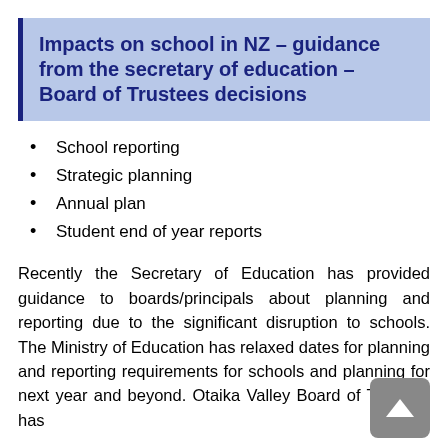Impacts on school in NZ – guidance from the secretary of education – Board of Trustees decisions
School reporting
Strategic planning
Annual plan
Student end of year reports
Recently the Secretary of Education has provided guidance to boards/principals about planning and reporting due to the significant disruption to schools.  The Ministry of Education has relaxed dates for planning and reporting requirements for schools and planning for next year and beyond.  Otaika Valley Board of Trustees has